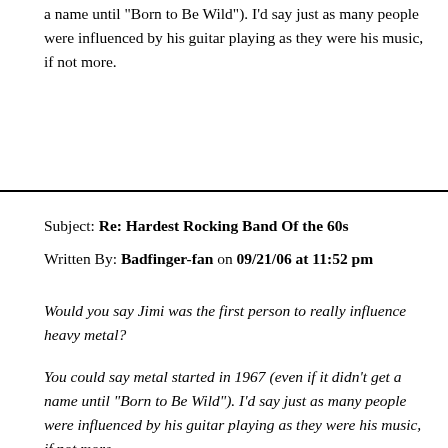a name until "Born to Be Wild"). I'd say just as many people were influenced by his guitar playing as they were his music, if not more.
Subject: Re: Hardest Rocking Band Of the 60s
Written By: Badfinger-fan on 09/21/06 at 11:52 pm
Would you say Jimi was the first person to really influence heavy metal?
You could say metal started in 1967 (even if it didn't get a name until "Born to Be Wild"). I'd say just as many people were influenced by his guitar playing as they were his music, if not more.
In the movie White Men Can't Jump, Wesley Snipes asks Woody Harrelson, do you hear Jimi or do you just